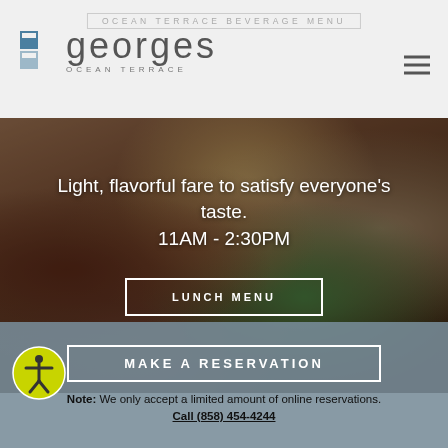OCEAN TERRACE BEVERAGE MENU — georges OCEAN TERRACE
[Figure (screenshot): Georges Ocean Terrace restaurant website screenshot showing food photo hero with text 'Light, flavorful fare to satisfy everyone's taste. 11AM - 2:30PM' and LUNCH MENU button]
Light, flavorful fare to satisfy everyone's taste.
11AM - 2:30PM
LUNCH MENU
MAKE A RESERVATION
Note: We only accept a limited amount of online reservations. Call (858) 454-4244